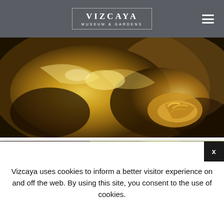VIZCAYA MUSEUM & GARDENS
[Figure (photo): Close-up photograph of golden bronze sculpture showing hands clasped around a torso, with rich warm gold tones and detailed surface texture.]
[Figure (photo): Partial photograph of a person outdoors with blurred yellow-green foliage in the background, with a copy/duplicate icon overlay in the upper right.]
Vizcaya uses cookies to inform a better visitor experience on and off the web. By using this site, you consent to the use of cookies.